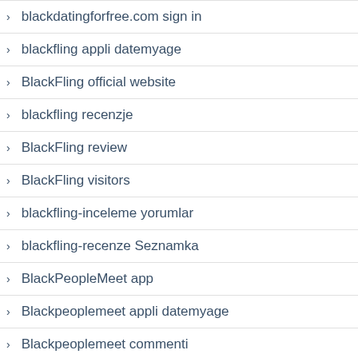blackdatingforfree.com sign in
blackfling appli datemyage
BlackFling official website
blackfling recenzje
BlackFling review
BlackFling visitors
blackfling-inceleme yorumlar
blackfling-recenze Seznamka
BlackPeopleMeet app
Blackpeoplemeet appli datemyage
Blackpeoplemeet commenti